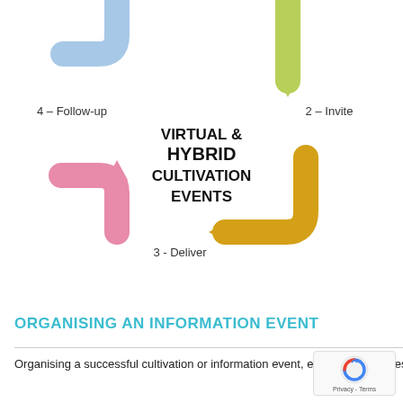[Figure (flowchart): Circular flowchart showing 4 steps for Virtual & Hybrid Cultivation Events: 1-Identify (implied, top), 2-Invite (right, green arrow down), 3-Deliver (bottom, gold arrow left), 4-Follow-up (left, pink arrow up). Center label reads VIRTUAL & HYBRID CULTIVATION EVENTS.]
ORGANISING AN INFORMATION EVENT
Organising a successful cultivation or information event, ev... ther this takes place in a traditionally, or thoughtfully being. The...